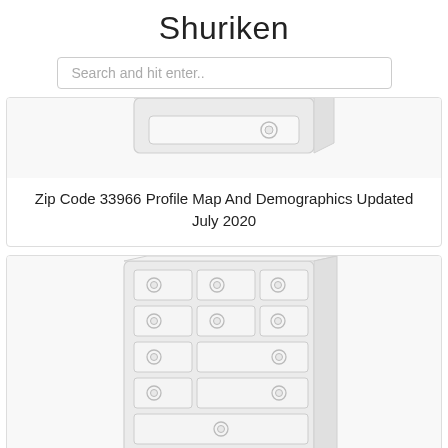Shuriken
Search and hit enter..
[Figure (illustration): Isometric illustration of a server or storage drawer unit, light grey tones, single drawer visible with circular handle]
Zip Code 33966 Profile Map And Demographics Updated July 2020
[Figure (illustration): Isometric illustration of a multi-drawer server rack or filing cabinet unit, light grey tones, multiple drawers with circular handles arranged in rows]